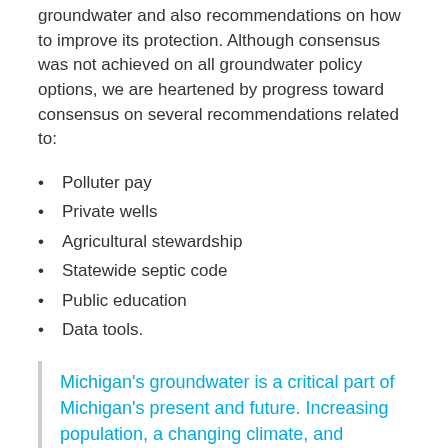groundwater and also recommendations on how to improve its protection. Although consensus was not achieved on all groundwater policy options, we are heartened by progress toward consensus on several recommendations related to:
Polluter pay
Private wells
Agricultural stewardship
Statewide septic code
Public education
Data tools.
Michigan's groundwater is a critical part of Michigan's present and future. Increasing population, a changing climate, and limited public funding for prevention and cleanup of